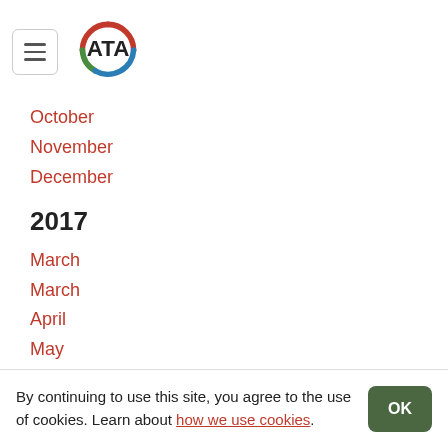[Figure (logo): ATA logo with colored arc (red top, green left, blue bottom) and hamburger menu icon]
October
November
December
2017
March
March
April
May
June
July
August
September
October
By continuing to use this site, you agree to the use of cookies. Learn about how we use cookies.